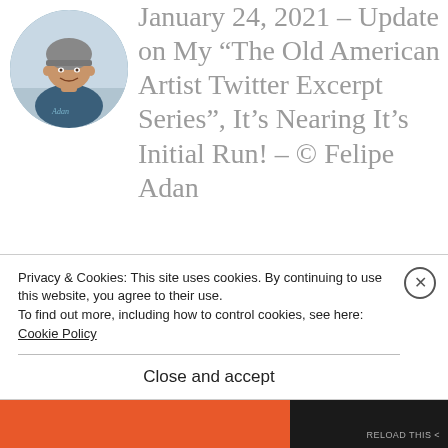[Figure (photo): Circular avatar photo of a person wearing a helmet, smiling, outdoors near water]
January 24, 2021 – Update on My “The Old American Artist Twitter Excerpt Series”, It’s Nearing It’s Initial Run! – © Felipe Adan
Privacy & Cookies: This site uses cookies. By continuing to use this website, you agree to their use.
To find out more, including how to control cookies, see here:
Cookie Policy
Close and accept